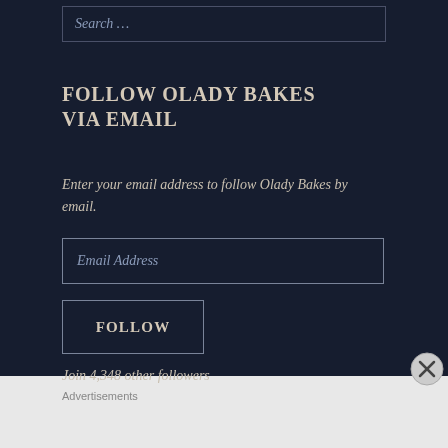Search …
FOLLOW OLADY BAKES VIA EMAIL
Enter your email address to follow Olady Bakes by email.
Email Address
FOLLOW
Join 4,348 other followers
Advertisements